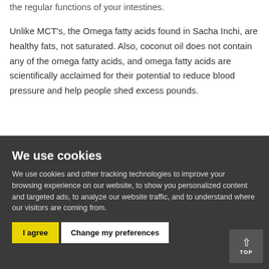the regular functions of your intestines.
Unlike MCT's, the Omega fatty acids found in Sacha Inchi, are healthy fats, not saturated. Also, coconut oil does not contain any of the omega fatty acids, and omega fatty acids are scientifically acclaimed for their potential to reduce blood pressure and help people shed excess pounds.
Elevare's pure protein blend is a clear choice for consumers who are concerned about their saturated fat intake.
We use cookies
We use cookies and other tracking technologies to improve your browsing experience on our website, to show you personalized content and targeted ads, to analyze our website traffic, and to understand where our visitors are coming from.
I agree
Change my preferences